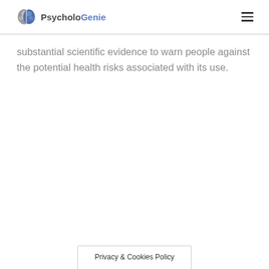PsycholoGenie
substantial scientific evidence to warn people against the potential health risks associated with its use.
Privacy & Cookies Policy